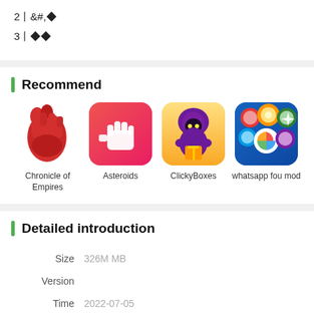2｜&#,◆
3｜◆◆
Recommend
[Figure (other): Four app icons in a row: Chronicle of Empires (red fist with figure), Asteroids (red background with fist icon), ClickyBoxes (hooded character), whatsapp fou mod (colorful bubbles)]
Detailed introduction
Size   326M MB
Version
Time   2022-07-05